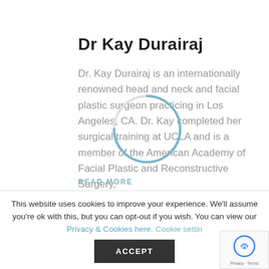Dr Kay Durairaj
Dr. Kay Durairaj is an internationally renowned head and neck and facial plastic surgeon practicing in Los Angeles, CA. Dr. Kay completed her surgical training at UCLA and is a member of the American Academy of Facial Plastic and Reconstructive Surgery,
READ MORE
[Figure (other): Circular loading spinner graphic (light blue arc on grey circle outline) overlaid on the text content]
100%
This website uses cookies to improve your experience. We'll assume you're ok with this, but you can opt-out if you wish. You can view our Privacy & Cookies here. Cookie settings
ACCEPT